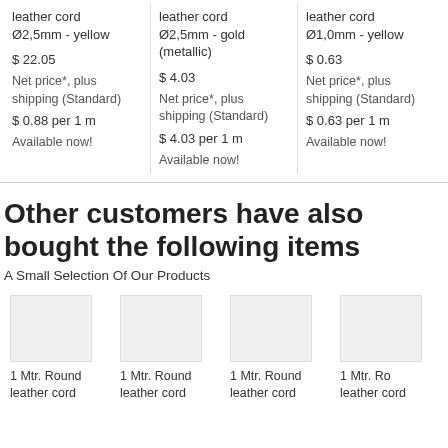leather cord Ø2,5mm - yellow
$ 22.05
Net price*, plus shipping (Standard)
$ 0.88 per 1 m
Available now!
leather cord Ø2,5mm - gold (metallic)
$ 4.03
Net price*, plus shipping (Standard)
$ 4.03 per 1 m
Available now!
leather cord Ø1,0mm - yellow
$ 0.63
Net price*, plus shipping (Standard)
$ 0.63 per 1 m
Available now!
Other customers have also bought the following items
A Small Selection Of Our Products
1 Mtr. Round leather cord
1 Mtr. Round leather cord
1 Mtr. Round leather cord
1 Mtr. Ro leather cord